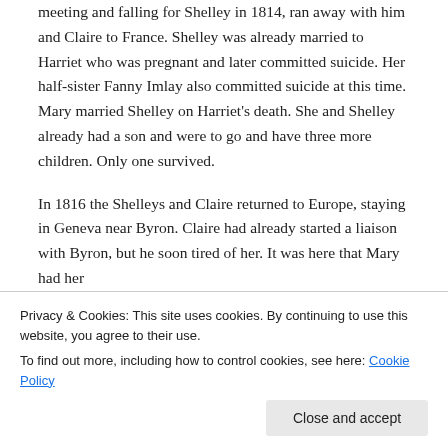meeting and falling for Shelley in 1814, ran away with him and Claire to France. Shelley was already married to Harriet who was pregnant and later committed suicide. Her half-sister Fanny Imlay also committed suicide at this time. Mary married Shelley on Harriet's death. She and Shelley already had a son and were to go and have three more children. Only one survived.

In 1816 the Shelleys and Claire returned to Europe, staying in Geneva near Byron. Claire had already started a liaison with Byron, but he soon tired of her. It was here that Mary had her
Privacy & Cookies: This site uses cookies. By continuing to use this website, you agree to their use.
To find out more, including how to control cookies, see here: Cookie Policy